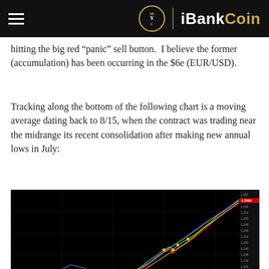iBankCoin
hitting the big red “panic” sell button.  I believe the former (accumulation) has been occurring in the $6e (EUR/USD).
Tracking along the bottom of the following chart is a moving average dating back to 8/15, when the contract was trading near the midrange its recent consolidation after making new annual lows in July:
[Figure (screenshot): Trading chart screenshot showing EUR/USD price action on a black background with colored moving average lines (green, red, yellow, blue/purple) trending upward from left to right. Price scale visible on right side showing values around 1.220-1.260 range. Time axis along bottom. Chart shows a significant uptrend after a consolidation period.]